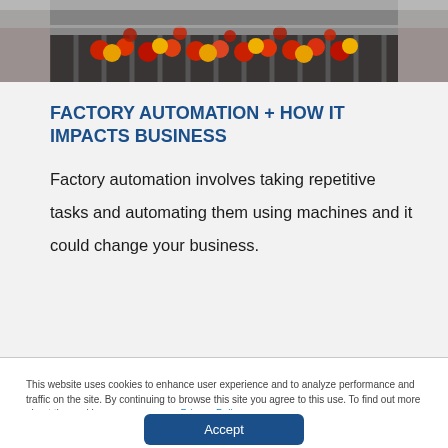[Figure (photo): Industrial conveyor belt with round red and yellow items (possibly tomatoes or balls) moving along rollers in a factory setting.]
FACTORY AUTOMATION + HOW IT IMPACTS BUSINESS
Factory automation involves taking repetitive tasks and automating them using machines and it could change your business.
This website uses cookies to enhance user experience and to analyze performance and traffic on the site. By continuing to browse this site you agree to this use. To find out more about the cookies we use, see our Privacy Policy.
Accept